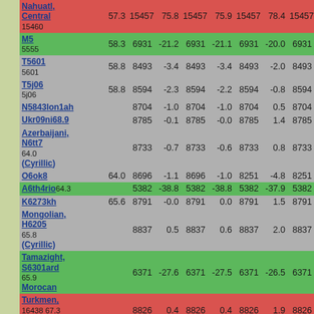| Language | N | Score | N | Diff | N | Diff | N | Diff | N |
| --- | --- | --- | --- | --- | --- | --- | --- | --- | --- |
| Nahuatl, Central / 15460 | 57.3 | 15457 | 75.8 | 15457 | 75.9 | 15457 | 78.4 | 15457 |
| M5 / 5555 | 58.3 | 6931 | -21.2 | 6931 | -21.1 | 6931 | -20.0 | 6931 |
| T5601 / 5601 | 58.8 | 8493 | -3.4 | 8493 | -3.4 | 8493 | -2.0 | 8493 |
| Tajik / 5j06 | 58.8 | 8594 | -2.3 | 8594 | -2.2 | 8594 | -0.8 | 8594 |
| N5843 / Mongolian / 5843 |  | 8704 | -1.0 | 8704 | -1.0 | 8704 | 0.5 | 8704 |
| Ukrainian / Ukr09ni68 / 9 |  | 8785 | -0.1 | 8785 | -0.0 | 8785 | 1.4 | 8785 |
| Azerbaijani, North / (Cyrillic) / N6tt7 | 64.0 | 8733 | -0.7 | 8733 | -0.6 | 8733 | 0.8 | 8733 |
| Osak / O6ok8 | 64.0 | 8696 | -1.1 | 8696 | -1.0 | 8251 | -4.8 | 8251 |
| Amharic / A6th4rio / 64.3 |  | 5382 | -38.8 | 5382 | -38.8 | 5382 | -37.9 | 5382 |
| Kazakh / K6273kh | 65.6 | 8791 | -0.0 | 8791 | 0.0 | 8791 | 1.5 | 8791 |
| Mongolian, (Cyrillic) / H6205 / 16205 | 65.8 | 8837 | 0.5 | 8837 | 0.6 | 8837 | 2.0 | 8837 |
| Tamazight, Standard Morocan / S6301ard / 16301 | 65.9 | 6371 | -27.6 | 6371 | -27.5 | 6371 | -26.5 | 6371 |
| Turkmen, (Cyrillic) / 16438 | 67.3 | 8826 | 0.4 | 8826 | 0.4 | 8826 | 1.9 | 8826 |